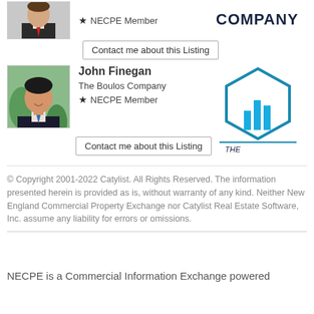[Figure (photo): Partial photo of first broker (top, cropped) wearing a suit with red tie]
★ NECPE Member
[Figure (logo): The Boulos Company logo (top, partial) showing COMPANY text in dark navy]
Contact me about this Listing
[Figure (photo): Photo of John Finegan, smiling man in dark suit with blue tie, outdoors background]
John Finegan
The Boulos Company
★ NECPE Member
[Figure (logo): The Boulos Company full logo with hexagon building icon in teal/blue above THE BOULOS COMPANY text in dark navy]
Contact me about this Listing
© Copyright 2001-2022 Catylist. All Rights Reserved. The information presented herein is provided as is, without warranty of any kind. Neither New England Commercial Property Exchange nor Catylist Real Estate Software, Inc. assume any liability for errors or omissions.
NECPE is a Commercial Information Exchange powered